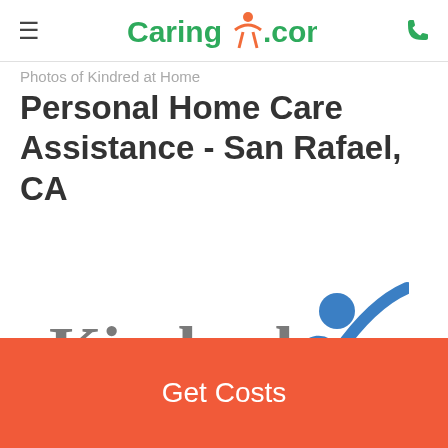Caring.com
Photos of Kindred at Home Personal Home Care Assistance - San Rafael, CA
[Figure (logo): Kindred at Home logo with blue figure and gray text]
Get Costs